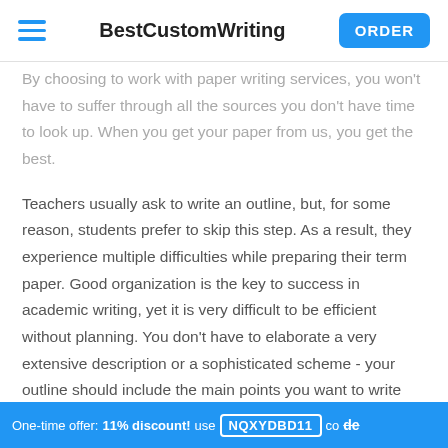BestCustomWriting | ORDER
By choosing to work with paper writing services, you won't have to suffer through all the sources you don't have time to look up. When you get your paper from us, you get the best.
Teachers usually ask to write an outline, but, for some reason, students prefer to skip this step. As a result, they experience multiple difficulties while preparing their term paper. Good organization is the key to success in academic writing, yet it is very difficult to be efficient without planning. You don't have to elaborate a very extensive description or a sophisticated scheme - your outline should include the main points you want to write about. What is more, you can totally elevate from it.
One-time offer: 11% discount! use NQXYDBD11 code